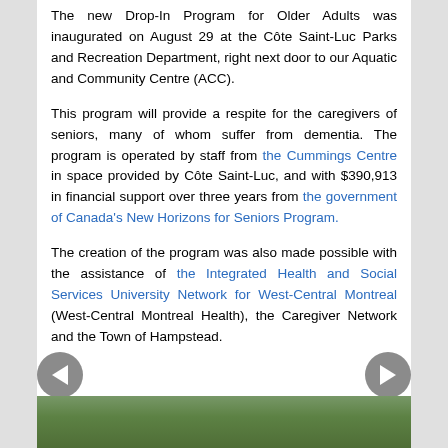The new Drop-In Program for Older Adults was inaugurated on August 29 at the Côte Saint-Luc Parks and Recreation Department, right next door to our Aquatic and Community Centre (ACC).
This program will provide a respite for the caregivers of seniors, many of whom suffer from dementia. The program is operated by staff from the Cummings Centre in space provided by Côte Saint-Luc, and with $390,913 in financial support over three years from the government of Canada's New Horizons for Seniors Program.
The creation of the program was also made possible with the assistance of the Integrated Health and Social Services University Network for West-Central Montreal (West-Central Montreal Health), the Caregiver Network and the Town of Hampstead.
[Figure (photo): Partial photo strip showing trees/foliage at bottom of page]